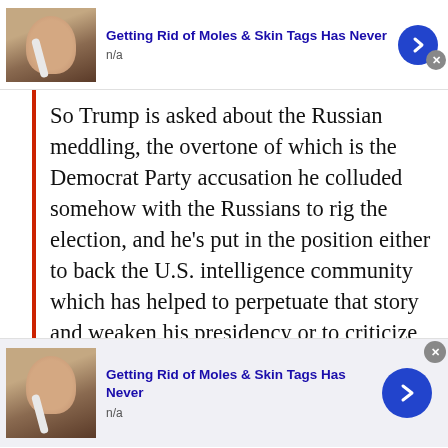[Figure (screenshot): Top advertisement banner: thumbnail image of person applying toothbrush to face/nose, blue bold title text 'Getting Rid of Moles & Skin Tags Has Never', 'n/a' subtitle, blue circular arrow button, gray close X button]
So Trump is asked about the Russian meddling, the overtone of which is the Democrat Party accusation he colluded somehow with the Russians to rig the election, and he's put in the position either to back the U.S. intelligence community which has helped to perpetuate that story and weaken his presidency or to criticize his own government in the presence of Putin – who has unmistakably acted against
[Figure (screenshot): Bottom advertisement banner: thumbnail image of person applying toothbrush to face/nose, blue bold title text 'Getting Rid of Moles & Skin Tags Has Never', 'n/a' subtitle, blue circular arrow button, gray close X button at top right]